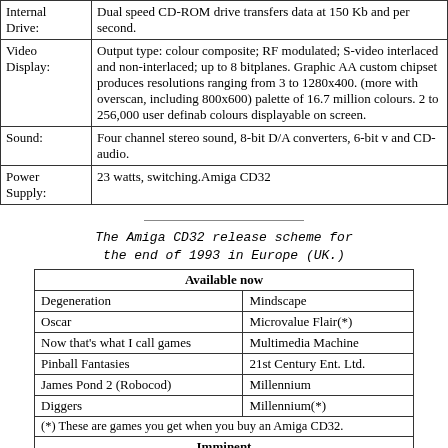|  |  |
| --- | --- |
| Internal Drive: | Dual speed CD-ROM drive transfers data at 150 Kb and per second. |
| Video Display: | Output type: colour composite; RF modulated; S-video interlaced and non-interlaced; up to 8 bitplanes. Graphic AA custom chipset produces resolutions ranging from 3 to 1280x400. (more with overscan, including 800x600) palette of 16.7 million colours. 2 to 256,000 user definable colours displayable on screen. |
| Sound: | Four channel stereo sound, 8-bit D/A converters, 6-bit v and CD-audio. |
| Power Supply: | 23 watts, switching.Amiga CD32 |
The Amiga CD32 release scheme for the end of 1993 in Europe (UK.)
| Available now |  |
| --- | --- |
| Degeneration | Mindscape |
| Oscar | Microvalue Flair(*) |
| Now that's what I call games | Multimedia Machine |
| Pinball Fantasies | 21st Century Ent. Ltd. |
| James Pond 2 (Robocod) | Millennium |
| Diggers | Millennium(*) |
| (*) These are games you get when you buy an Amiga CD32. |  |
| Imminent |  |